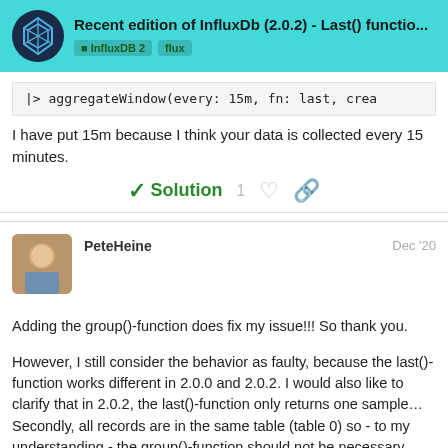Recent edition of InfluxDb (2.0.2) - Last() functio... | InfluxDB 2  flux
|> aggregateWindow(every: 15m, fn: last, crea
I have put 15m because I think your data is collected every 15 minutes.
✓ Solution  1
PeteHeine  Dec '20
Adding the group()-function does fix my issue!!! So thank you.
However, I still consider the behavior as faulty, because the last()-function works different in 2.0.0 and 2.0.2. I would also like to clarify that in 2.0.2, the last()-function only returns one sample… Secondly, all records are in the same table (table 0) so - to my understanding - the group()-function should not be necessary.